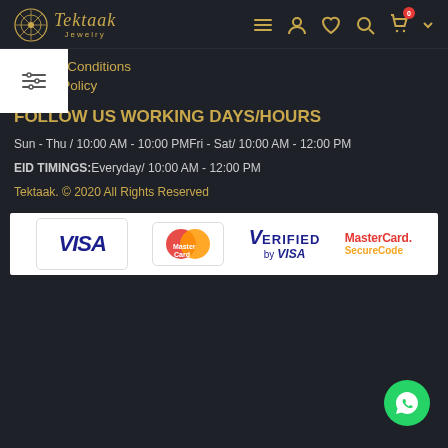[Figure (logo): Tektaak Jewelry logo with decorative circular emblem and italic brand name]
[Figure (infographic): Navigation icons: hamburger menu, user, heart/wishlist, search, cart with badge 0, chevron]
Terms & Conditions
Refund Policy
[Figure (infographic): Filter/sliders icon in white box overlay on left side]
FOLLOW US
WORKING DAYS/HOURS
Sun - Thu / 10:00 AM - 10:00 PMFri - Sat/ 10:00 AM - 12:00 PM
EID TIMINGS:Everyday/ 10:00 AM - 12:00 PM
Tektaak. © 2020 All Rights Reserved
[Figure (infographic): Payment methods strip showing VISA card, MasterCard, Verified by VISA, and MasterCard SecureCode logos on white background]
[Figure (infographic): WhatsApp contact button - green circular button with phone/WhatsApp icon]